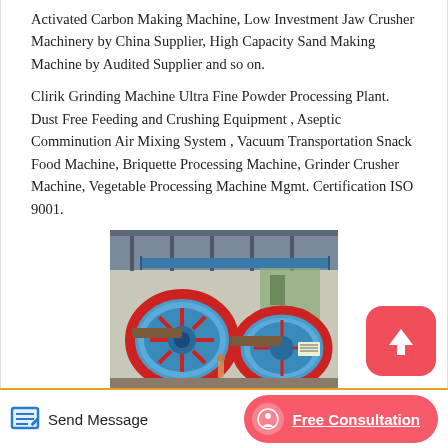Activated Carbon Making Machine, Low Investment Jaw Crusher Machinery by China Supplier, High Capacity Sand Making Machine by Audited Supplier and so on.
Clirik Grinding Machine Ultra Fine Powder Processing Plant. Dust Free Feeding and Crushing Equipment , Aseptic Comminution Air Mixing System , Vacuum Transportation Snack Food Machine, Briquette Processing Machine, Grinder Crusher Machine, Vegetable Processing Machine Mgmt. Certification ISO 9001.
[Figure (photo): Industrial ball mill machinery in a manufacturing facility, showing large blue cylindrical grinding mills with red wheel mechanisms in a factory setting.]
Send Message
Free Consultation